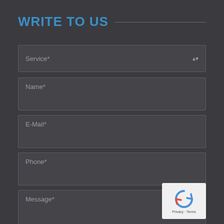WRITE TO US
Service*
Name*
E-Mail*
Phone*
Message*
[Figure (logo): reCAPTCHA badge with recycle-arrow logo icon and 'Privacy - Terms' text links at the bottom]